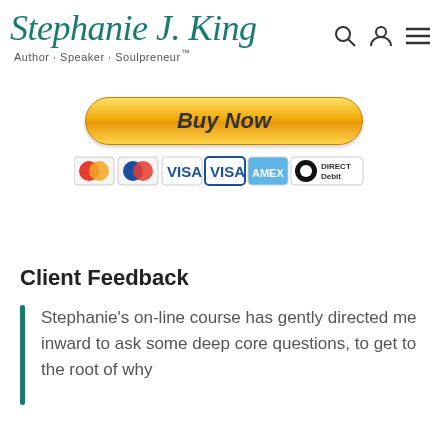Stephanie J. King — Author · Speaker · Soulpreneur™
[Figure (other): Buy Now button with PayPal payment options including MasterCard, Maestro, VISA, VISA Electron, American Express, and Direct Debit icons]
Client Feedback
Stephanie's on-line course has gently directed me inward to ask some deep core questions, to get to the root of why I react to situations and people the way I do.